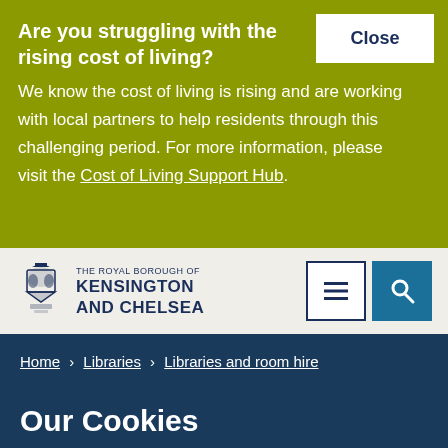Are you struggling with the rising cost of living?
We know the cost of living is rising and are working with local partners to help residents through this challenging period. For more information, please visit the Cost of Living Support Hub.
[Figure (logo): The Royal Borough of Kensington and Chelsea crest and wordmark]
Home › Libraries › Libraries and room hire
Our Cookies
This website uses cookies which are essential for